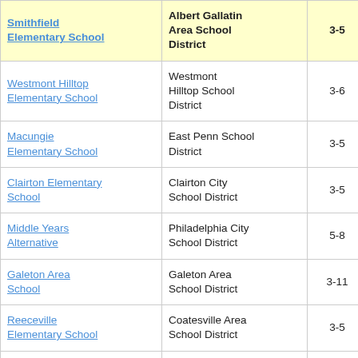| School | District | Grades |  |
| --- | --- | --- | --- |
| Smithfield Elementary School | Albert Gallatin Area School District | 3-5 | 9. |
| Westmont Hilltop Elementary School | Westmont Hilltop School District | 3-6 | 1. |
| Macungie Elementary School | East Penn School District | 3-5 | 3. |
| Clairton Elementary School | Clairton City School District | 3-5 | 3. |
| Middle Years Alternative | Philadelphia City School District | 5-8 | 4. |
| Galeton Area School | Galeton Area School District | 3-11 | 2. |
| Reeceville Elementary School | Coatesville Area School District | 3-5 | 4. |
| Shady Grove | Wissahickon | 3-5 | 2. |